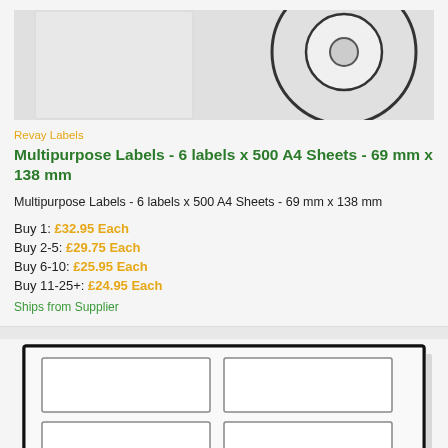[Figure (illustration): Product image showing label rolls/spools on a light gray background, partially cropped at top]
Revay Labels
Multipurpose Labels - 6 labels x 500 A4 Sheets - 69 mm x 138 mm
Multipurpose Labels - 6 labels x 500 A4 Sheets - 69 mm x 138 mm
Buy 1: £32.95 Each
Buy 2-5: £29.75 Each
Buy 6-10: £25.95 Each
Buy 11-25+: £24.95 Each
Ships from Supplier
[Figure (illustration): Diagram of an A4 sheet showing 6 rectangular label positions arranged in a 2-column grid layout]